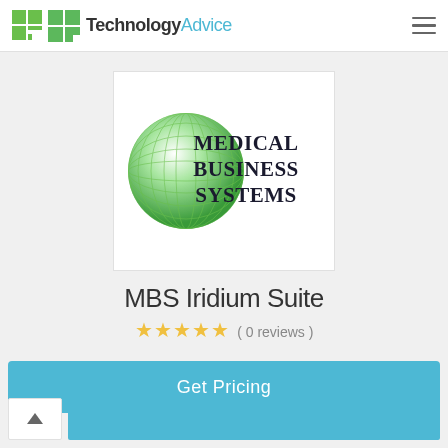TechnologyAdvice
[Figure (logo): Medical Business Systems logo: green globe with grid lines on the left, bold serif text 'MEDICAL BUSINESS SYSTEMS' on the right]
MBS Iridium Suite
( 0 reviews )
Get Pricing